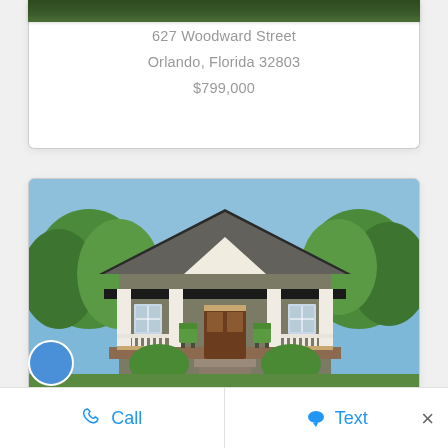[Figure (photo): Grass/lawn strip at top of first listing card]
627 Woodward Street
Orlando, Florida 32803
$799,000
[Figure (photo): Exterior photo of a craftsman-style bungalow with a covered front porch, white columns and railings, dark roof, green chairs on porch, and steps leading to front door]
Call
Text